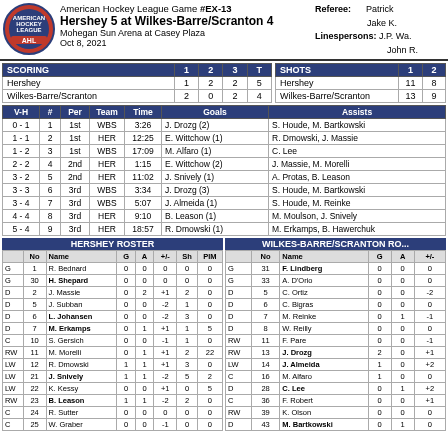American Hockey League Game #EX-13 — Hershey 5 at Wilkes-Barre/Scranton 4 — Mohegan Sun Arena at Casey Plaza — Oct 8, 2021 — Referee: Patrick, Jake K. — Linespersons: J.P. Wa., John R.
| SCORING | 1 | 2 | 3 | T |
| --- | --- | --- | --- | --- |
| Hershey | 1 | 2 | 2 | 5 |
| Wilkes-Barre/Scranton | 2 | 0 | 2 | 4 |
| SHOTS | 1 | 2 |
| --- | --- | --- |
| Hershey | 11 | 8 |
| Wilkes-Barre/Scranton | 13 | 9 |
| V-H | # | Per | Team | Time | Goals | Assists |
| --- | --- | --- | --- | --- | --- | --- |
| 0 - 1 | 1 | 1st | WBS | 3:26 | J. Drozg (2) | S. Houde, M. Bartkowski |
| 1 - 1 | 2 | 1st | HER | 12:25 | E. Wittchow (1) | R. Dmowski, J. Massie |
| 1 - 2 | 3 | 1st | WBS | 17:09 | M. Alfaro (1) | C. Lee |
| 2 - 2 | 4 | 2nd | HER | 1:15 | E. Wittchow (2) | J. Massie, M. Morelli |
| 3 - 2 | 5 | 2nd | HER | 11:02 | J. Snively (1) | A. Protas, B. Leason |
| 3 - 3 | 6 | 3rd | WBS | 3:34 | J. Drozg (3) | S. Houde, M. Bartkowski |
| 3 - 4 | 7 | 3rd | WBS | 5:07 | J. Almeida (1) | S. Houde, M. Reinke |
| 4 - 4 | 8 | 3rd | HER | 9:10 | B. Leason (1) | M. Moulson, J. Snively |
| 5 - 4 | 9 | 3rd | HER | 18:57 | R. Dmowski (1) | M. Erkamps, B. Hawerchuk |
HERSHEY ROSTER
|  | No | Name | G | A | +/- | Sh | PIM |
| --- | --- | --- | --- | --- | --- | --- | --- |
| G | 1 | R. Bednard | 0 | 0 | 0 | 0 | 0 |
| G | 30 | H. Shepard | 0 | 0 | 0 | 0 | 0 |
| D | 2 | J. Massie | 0 | 2 | +1 | 2 | 0 |
| D | 5 | J. Subban | 0 | 0 | -2 | 1 | 0 |
| D | 6 | L. Johansen | 0 | 0 | -2 | 3 | 0 |
| D | 7 | M. Erkamps | 0 | 1 | +1 | 1 | 5 |
| C | 10 | S. Gersich | 0 | 0 | -1 | 1 | 0 |
| RW | 11 | M. Morelli | 0 | 1 | +1 | 2 | 22 |
| LW | 12 | R. Dmowski | 1 | 1 | +1 | 3 | 0 |
| LW | 21 | J. Snively | 1 | 1 | -2 | 5 | 2 |
| LW | 22 | K. Kessy | 0 | 0 | +1 | 0 | 5 |
| RW | 23 | B. Leason | 1 | 1 | -2 | 2 | 0 |
| C | 24 | R. Sutter | 0 | 0 | 0 | 0 | 0 |
| C | 25 | W. Graber | 0 | 0 | -1 | 0 | 0 |
WILKES-BARRE/SCRANTON ROSTER
|  | No | Name | G | A | +/- |
| --- | --- | --- | --- | --- | --- |
| G | 31 | F. Lindberg | 0 | 0 | 0 |
| G | 33 | A. D'Orio | 0 | 0 | 0 |
| D | 5 | C. Ortiz | 0 | 0 | -2 |
| D | 6 | C. Bigras | 0 | 0 | 0 |
| D | 7 | M. Reinke | 0 | 1 | -1 |
| D | 8 | W. Reilly | 0 | 0 | 0 |
| RW | 11 | F. Pare | 0 | 0 | -1 |
| RW | 13 | J. Drozg | 2 | 0 | +1 |
| LW | 14 | J. Almeida | 1 | 0 | +2 |
| C | 16 | M. Alfaro | 1 | 0 | 0 |
| D | 28 | C. Lee | 0 | 1 | +2 |
| C | 36 | F. Robert | 0 | 0 | +1 |
| RW | 39 | K. Olson | 0 | 0 | 0 |
| D | 43 | M. Bartkowski | 0 | 1 | 0 |